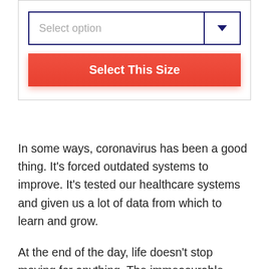[Figure (screenshot): UI widget with a dropdown 'Select option' and a red 'Select This Size' button]
In some ways, coronavirus has been a good thing. It's forced outdated systems to improve. It's tested our healthcare systems and given us a lot of data from which to learn and grow.
At the end of the day, life doesn't stop moving for anything. The immeasurable suffering that COVID-19 has caused is tragic. But without growth, we submit to it and let it conquer us.
The only alternative is to fight. Adapt. Create new technologies and new strategies to cope with the